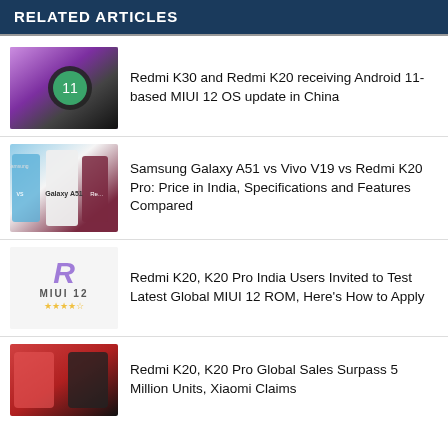RELATED ARTICLES
[Figure (photo): Thumbnail showing Redmi K30 and Redmi K20 phones alongside Android 11 logo]
Redmi K30 and Redmi K20 receiving Android 11-based MIUI 12 OS update in China
[Figure (photo): Thumbnail showing Samsung Galaxy A51 vs Vivo V19 vs Redmi K20 Pro comparison]
Samsung Galaxy A51 vs Vivo V19 vs Redmi K20 Pro: Price in India, Specifications and Features Compared
[Figure (logo): MIUI 12 logo with stars rating]
Redmi K20, K20 Pro India Users Invited to Test Latest Global MIUI 12 ROM, Here's How to Apply
[Figure (photo): Thumbnail showing Redmi K20 and K20 Pro phones]
Redmi K20, K20 Pro Global Sales Surpass 5 Million Units, Xiaomi Claims